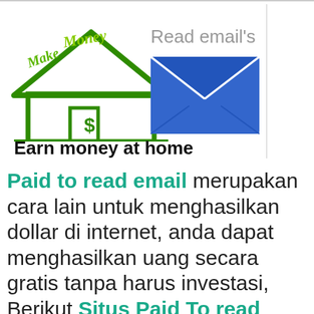[Figure (illustration): Illustration showing a green house with dollar sign and 'Make Money' text, alongside a blue email envelope icon, with text 'Read email's' above and 'Earn money at home' below in bold black.]
Paid to read email merupakan cara lain untuk menghasilkan dollar di internet, anda dapat menghasilkan uang secara gratis tanpa harus investasi, Berikut Situs Paid To read